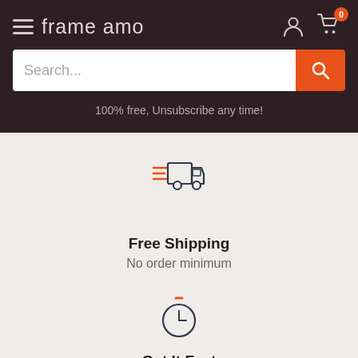frame amo
Search...
100% free, Unsubscribe any time!
[Figure (illustration): Fast shipping truck icon with speed lines in dark blue and orange]
Free Shipping
No order minimum
[Figure (illustration): Stopwatch/clock icon with orange accent on top]
Get It Fast
Most orders arrive in 2 days